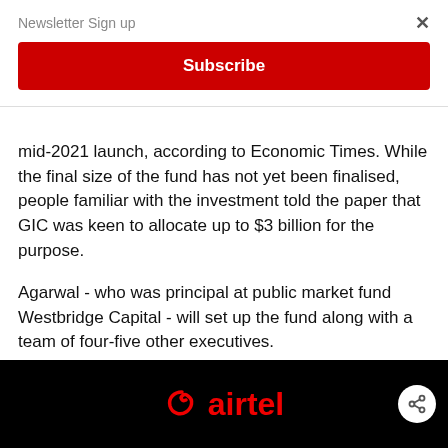Newsletter Sign up
Subscribe
mid-2021 launch, according to Economic Times. While the final size of the fund has not yet been finalised, people familiar with the investment told the paper that GIC was keen to allocate up to $3 billion for the purpose.
Agarwal - who was principal at public market fund Westbridge Capital - will set up the fund along with a team of four-five other executives.
[Figure (photo): Airtel logo in red on a dark background with a share button overlay]